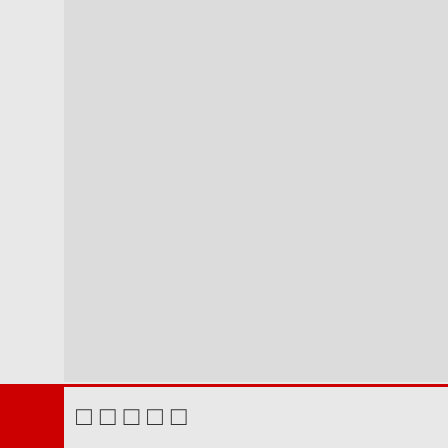[Figure (map): Gray map area placeholder]
□□□□□
| SID | SEASON | NUMBER | BASIN | SUBB... |
| --- | --- | --- | --- | --- |
| 1984164N28285 | 1984 | 37 | NA | NA |
| 1984164N28285 | 1984 | 37 | NA | NA |
| 1984164N28285 | 1984 | 37 | NA | NA |
| 1984164N28285 | 1984 | 37 | NA | NA |
| 1984164N28285 | 1984 | 37 | NA | NA |